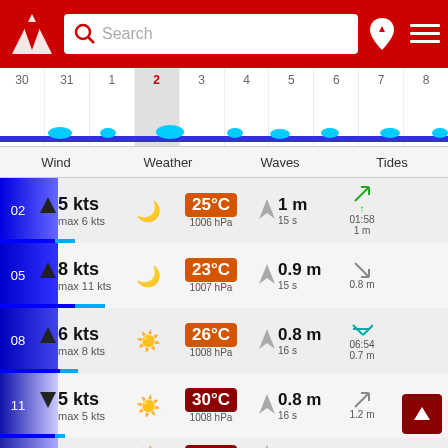Search bar header with logo
[Figure (screenshot): Calendar strip showing dates 30, 31, 1, 2(today), 3, 4, 5, 6, 7, 8 with wave sparklines]
Wind | Weather | Waves | Tides
| Time | Wind | Weather | Temp | Pressure | Wave Dir | Wave Height | Period | Tide |
| --- | --- | --- | --- | --- | --- | --- | --- | --- |
| 02 | 5 kts max 6 kts | moon | 25°C | 1006 hPa |  | 1 m | 15 s | 01:58 1 m |
| 05 | 8 kts max 11 kts | moon | 23°C | 1007 hPa |  | 0.9 m | 15 s | 0.8 m |
| 08 | 6 kts max 8 kts | sun | 26°C | 1008 hPa |  | 0.8 m | 16 s | 06:54 0.7 m |
| 11 | 5 kts max 5 kts | sun | 30°C | 1008 hPa |  | 0.8 m | 16 s | 1.2 m |
| 14 | 6 kts | sun | 31°C |  |  | 0.8 m |  |  |